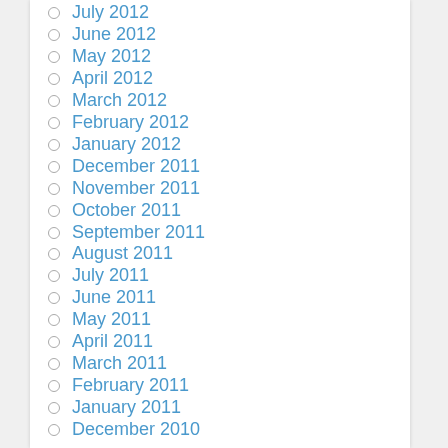July 2012
June 2012
May 2012
April 2012
March 2012
February 2012
January 2012
December 2011
November 2011
October 2011
September 2011
August 2011
July 2011
June 2011
May 2011
April 2011
March 2011
February 2011
January 2011
December 2010